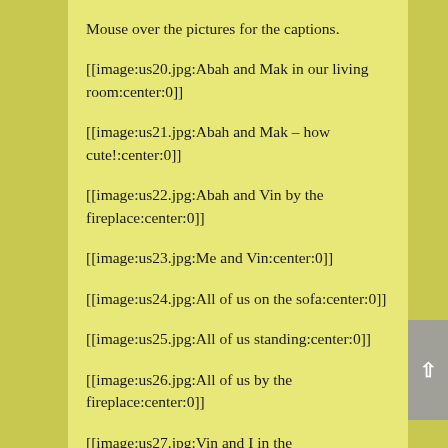Mouse over the pictures for the captions.
[[image:us20.jpg:Abah and Mak in our living room:center:0]]
[[image:us21.jpg:Abah and Mak – how cute!:center:0]]
[[image:us22.jpg:Abah and Vin by the fireplace:center:0]]
[[image:us23.jpg:Me and Vin:center:0]]
[[image:us24.jpg:All of us on the sofa:center:0]]
[[image:us25.jpg:All of us standing:center:0]]
[[image:us26.jpg:All of us by the fireplace:center:0]]
[[image:us27.jpg:Vin and I in the library:center:0]]